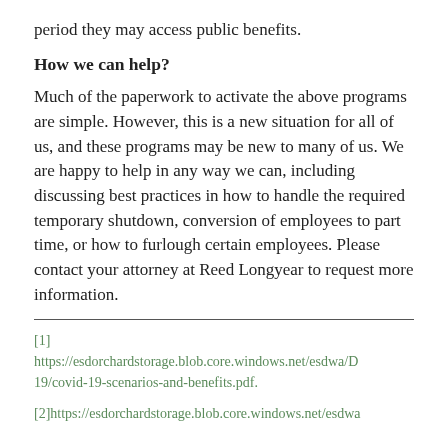period they may access public benefits.
How we can help?
Much of the paperwork to activate the above programs are simple. However, this is a new situation for all of us, and these programs may be new to many of us. We are happy to help in any way we can, including discussing best practices in how to handle the required temporary shutdown, conversion of employees to part time, or how to furlough certain employees. Please contact your attorney at Reed Longyear to request more information.
[1] https://esdorchardstorage.blob.core.windows.net/esdwa/D19/covid-19-scenarios-and-benefits.pdf.
[2]https://esdorchardstorage.blob.core.windows.net/esdwa/...